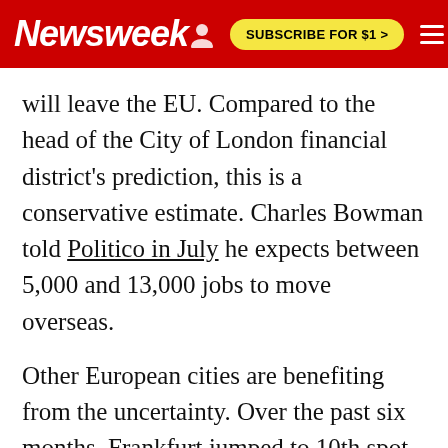Newsweek  SUBSCRIBE FOR $1 >
will leave the EU. Compared to the head of the City of London financial district's prediction, this is a conservative estimate. Charles Bowman told Politico in July he expects between 5,000 and 13,000 jobs to move overseas.
Other European cities are benefiting from the uncertainty. Over the past six months, Frankfurt jumped to 10th spot from 20th, Amsterdam climbed to 35th from 50th and Zurich to ninth spot from 16th. Paris and Dublin